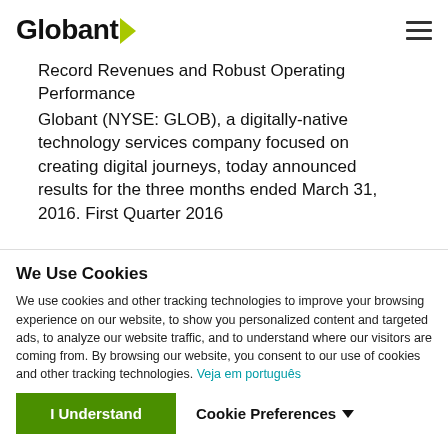Globant
Record Revenues and Robust Operating Performance
Globant (NYSE: GLOB), a digitally-native technology services company focused on creating digital journeys, today announced results for the three months ended March 31, 2016. First Quarter 2016
We Use Cookies
We use cookies and other tracking technologies to improve your browsing experience on our website, to show you personalized content and targeted ads, to analyze our website traffic, and to understand where our visitors are coming from. By browsing our website, you consent to our use of cookies and other tracking technologies. Veja em português
I Understand | Cookie Preferences